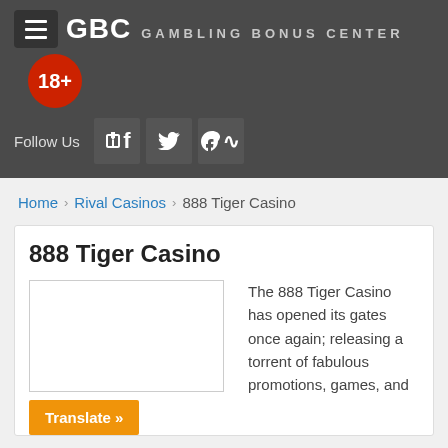[Figure (logo): GBC Gambling Bonus Center logo with hamburger menu icon and 18+ age badge]
Follow Us
Home > Rival Casinos > 888 Tiger Casino
888 Tiger Casino
[Figure (photo): 888 Tiger Casino logo/screenshot placeholder image]
Translate »
The 888 Tiger Casino has opened its gates once again; releasing a torrent of fabulous promotions, games, and